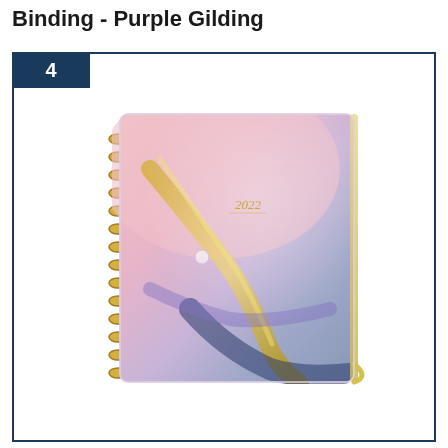Binding - Purple Gilding
[Figure (photo): A 2022 spiral-bound planner/notebook with a pink, purple, and gold marble pattern cover and a gold elastic band closure.]